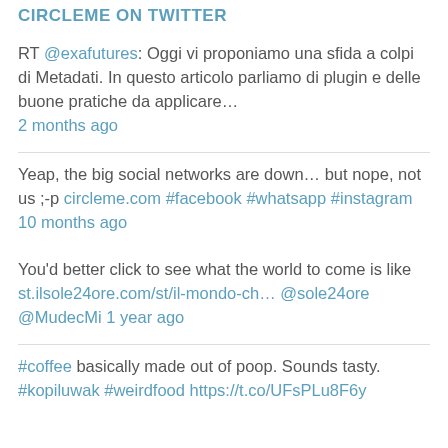CIRCLEME ON TWITTER
RT @exafutures: Oggi vi proponiamo una sfida a colpi di Metadati. In questo articolo parliamo di plugin e delle buone pratiche da applicare… 2 months ago
Yeap, the big social networks are down… but nope, not us ;-p circleme.com #facebook #whatsapp #instagram 10 months ago
You'd better click to see what the world to come is like st.ilsole24ore.com/st/il-mondo-ch… @sole24ore @MudecMi 1 year ago
#coffee basically made out of poop. Sounds tasty. #kopiluwak #weirdfood https://t.co/UFsPLu8F6y